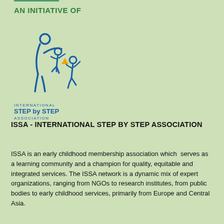AN INITIATIVE OF
[Figure (logo): International Step by Step Association (ISSA) logo — stylized blue figures of adults and children, with an orange accent triangle, above the text INTERNATIONAL STEP by STEP ASSOCIATION]
ISSA - INTERNATIONAL STEP BY STEP ASSOCIATION
ISSA is an early childhood membership association which  serves as a learning community and a champion for quality, equitable and integrated services. The ISSA network is a dynamic mix of expert organizations, ranging from NGOs to research institutes, from public bodies to early childhood services, primarily from Europe and Central Asia.